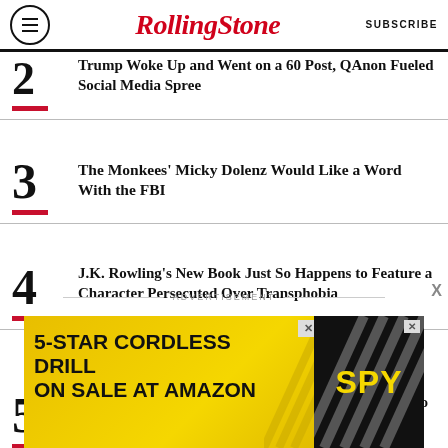Rolling Stone | SUBSCRIBE
2. Trump Woke Up and Went on a 60 Post, QAnon Fueled Social Media Spree
3. The Monkees' Micky Dolenz Would Like a Word With the FBI
4. J.K. Rowling's New Book Just So Happens to Feature a Character Persecuted Over Transphobia
5. It's 2022 and Trump Is Demanding an 'Immediate' Redo of the 2020 Election
ADVERTISEMENT
[Figure (other): Advertisement banner: 5-STAR CORDLESS DRILL ON SALE AT AMAZON / SPY logo]